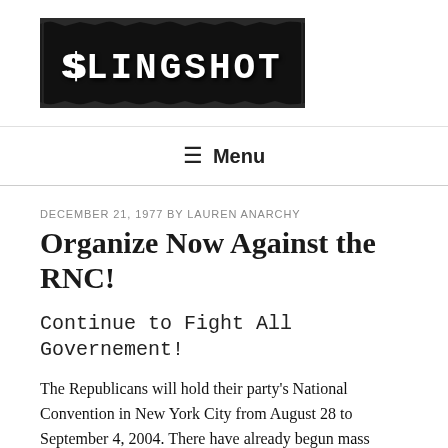[Figure (logo): Slingshot logo: white hand-drawn text 'SLINGSHOT' on black torn-paper background]
≡ Menu
DECEMBER 21, 1977 BY LAUREN ANARCHY
Organize Now Against the RNC!
Continue to Fight All Governement!
The Republicans will hold their party's National Convention in New York City from August 28 to September 4, 2004. There have already begun mass preparations by many groups in opposition to the RNC. These groups are calling out the Republicans' effort to